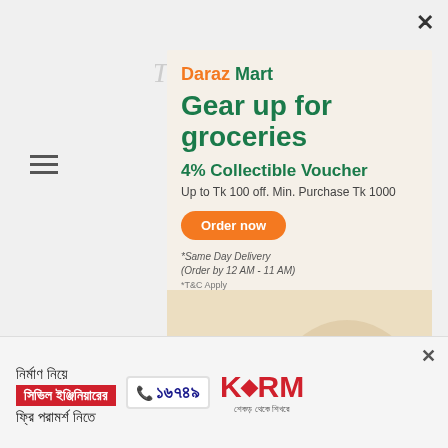[Figure (screenshot): Screenshot of a news website with a Daraz Mart popup advertisement overlaying the page. Background shows newspaper navigation elements (hamburger menu, search icon, italic article text). The main popup ad has an orange-green color scheme for Daraz Mart grocery promotion.]
Daraz Mart
Gear up for groceries
4% Collectible Voucher
Up to Tk 100 off. Min. Purchase Tk 1000
Order now
*Same Day Delivery (Order by 12 AM - 11 AM)
*T&C Apply
নির্মাণ নিয়ে
সিভিল ইঞ্জিনিয়ারের
ফ্রি পরামর্শ নিতে
১৬৭৪৯
KSRM শেকড় থেকে শিখরে